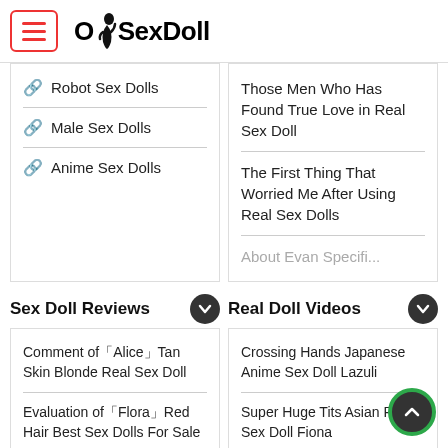OhSexDoll
Robot Sex Dolls
Male Sex Dolls
Anime Sex Dolls
Those Men Who Has Found True Love in Real Sex Doll
The First Thing That Worried Me After Using Real Sex Dolls
About Evan Specific...
Sex Doll Reviews
Real Doll Videos
Comment of「Alice」Tan Skin Blonde Real Sex Doll
Evaluation of「Flora」Red Hair Best Sex Dolls For Sale
Crossing Hands Japanese Anime Sex Doll Lazuli
Super Huge Tits Asian Real Sex Doll Fiona
A Cup Best Realistic Sex...